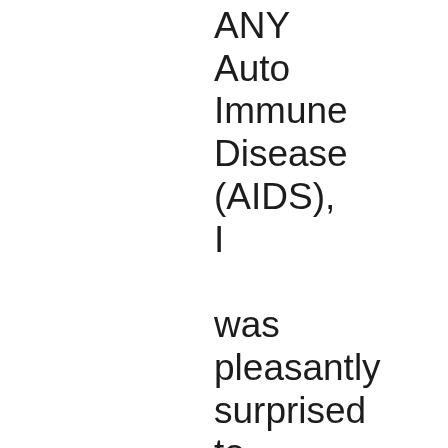ANY Auto Immune Disease (AIDS), I was pleasantly surprised to learn that December 1st, 2008 was “World AIDS Day.”